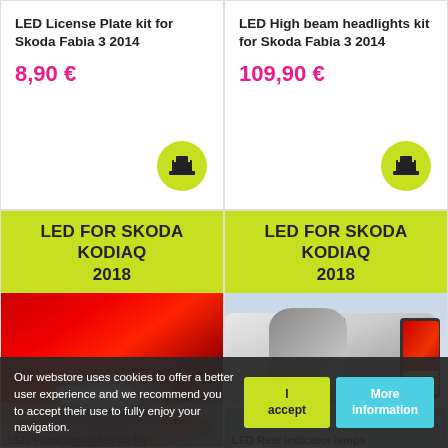LED License Plate kit for Skoda Fabia 3 2014
8,90 €
LED High beam headlights kit for Skoda Fabia 3 2014
109,90 €
LED FOR SKODA KODIAQ 2018
[Figure (photo): Red car front view with headlights visible, driving on road]
LED FOR SKODA KODIAQ 2018
[Figure (photo): White car rear/side view with red tail lights and amber indicator, car mirror visible]
LED Front fog lights kit for
LED Rear indicator lamps
Our webstore uses cookies to offer a better user experience and we recommend you to accept their use to fully enjoy your navigation.